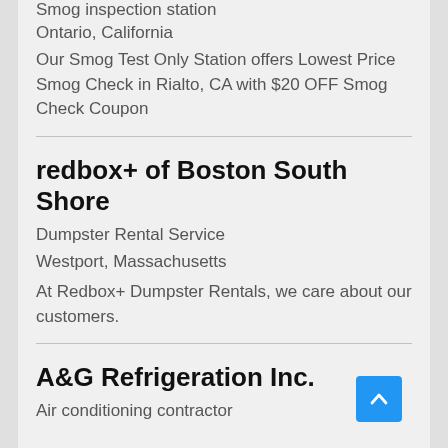Smog inspection station
Ontario, California
Our Smog Test Only Station offers Lowest Price Smog Check in Rialto, CA with $20 OFF Smog Check Coupon
redbox+ of Boston South Shore
Dumpster Rental Service
Westport, Massachusetts
At Redbox+ Dumpster Rentals, we care about our customers.
A&G Refrigeration Inc.
Air conditioning contractor